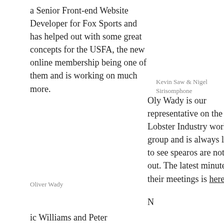a Senior Front-end Website Developer for Fox Sports and has helped out with some great concepts for the USFA, the new online membership being one of them and is working on much more.
Kevin Saw & Nigel Sirisomphone
Oly Wady is our representative on the Lobster Industry working group and is always looking to see spearos are not left out. The latest minutes from their meetings is here
Oliver Wady
N
ic Williams and Peter